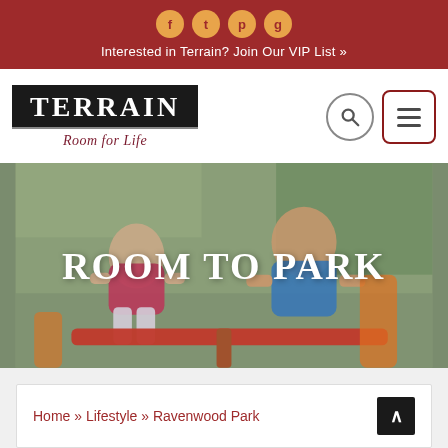Interested in Terrain? Join Our VIP List »
[Figure (logo): TERRAIN Room for Life logo with black background and dark red tagline]
[Figure (photo): Two young children playing on a seesaw/roundabout at a playground, with text overlay ROOM TO PARK]
ROOM TO PARK
Home » Lifestyle » Ravenwood Park